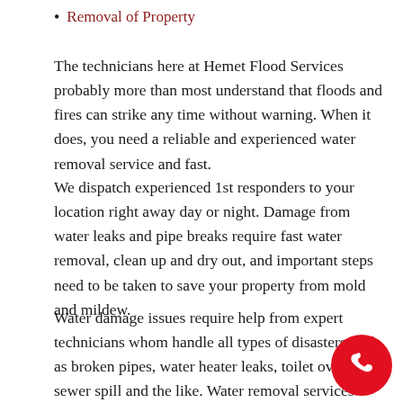Removal of Property
The technicians here at Hemet Flood Services probably more than most understand that floods and fires can strike any time without warning. When it does, you need a reliable and experienced water removal service and fast.
We dispatch experienced 1st responders to your location right away day or night. Damage from water leaks and pipe breaks require fast water removal, clean up and dry out, and important steps need to be taken to save your property from mold and mildew.
Water damage issues require help from expert technicians whom handle all types of disasters such as broken pipes, water heater leaks, toilet over sewer spill and the like. Water removal services needed initially without delay.